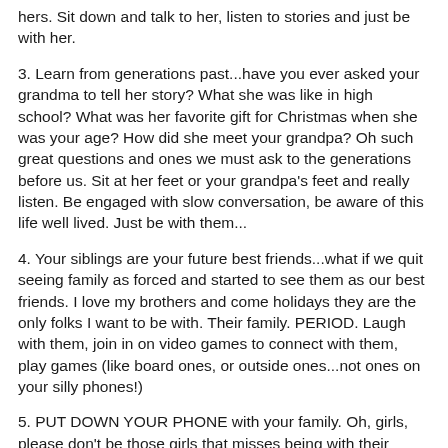hers. Sit down and talk to her, listen to stories and just be with her.
3. Learn from generations past...have you ever asked your grandma to tell her story? What she was like in high school? What was her favorite gift for Christmas when she was your age? How did she meet your grandpa? Oh such great questions and ones we must ask to the generations before us. Sit at her feet or your grandpa's feet and really listen. Be engaged with slow conversation, be aware of this life well lived. Just be with them...
4. Your siblings are your future best friends...what if we quit seeing family as forced and started to see them as our best friends. I love my brothers and come holidays they are the only folks I want to be with. Their family. PERIOD. Laugh with them, join in on video games to connect with them, play games (like board ones, or outside ones...not ones on your silly phones!)
5. PUT DOWN YOUR PHONE with your family. Oh, girls, please don't be those girls that misses being with their family